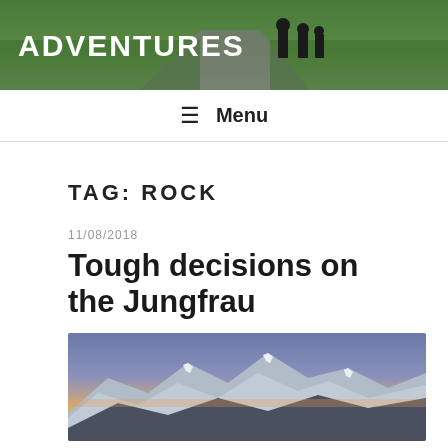[Figure (photo): Blog header image with 'ADVENTURES' text in white bold letters on a green mountain/nature background with silhouettes of people]
≡ Menu
TAG: ROCK
11/08/2018
Tough decisions on the Jungfrau
[Figure (photo): Mountain landscape at dusk/dawn showing snow-covered peaks with an orange-pink horizon and blue-purple sky]